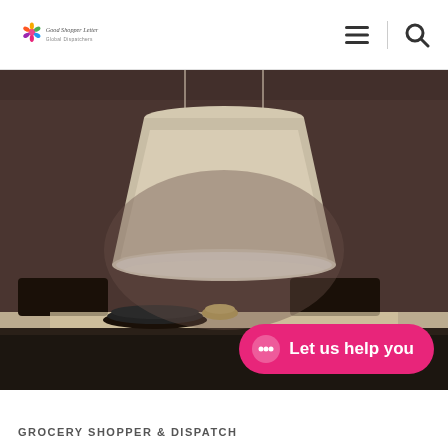Good Shopper Letter - Global Dispatchers
[Figure (photo): Interior dining scene with a large beige/cream drum pendant lamp hanging above a dark dining table with dark leather chairs. A place setting with dark plates and a small bowl is visible. Dark brown/mocha wall background.]
Let us help you
GROCERY SHOPPER & DISPATCH